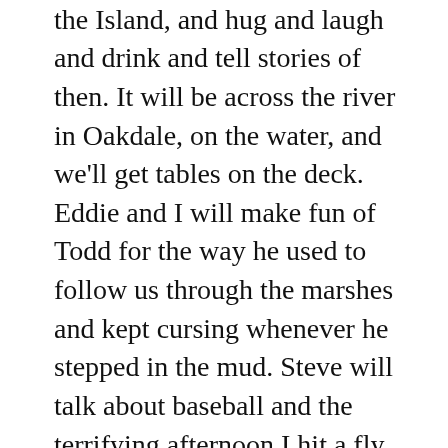to meet at a pub, probably on the Island, and hug and laugh and drink and tell stories of then. It will be across the river in Oakdale, on the water, and we'll get tables on the deck. Eddie and I will make fun of Todd for the way he used to follow us through the marshes and kept cursing whenever he stepped in the mud. Steve will talk about baseball and the terrifying afternoon I hit a fly ball right at the sliding glass door on the back of his house. We'll both remember at the same time how we used to see who could hit the ball over the roof, and then we'd retrieve it from the street and see who could throw the ball the farthest. And right at that moment I'll pull the ball out of my pocket and show them how bad their signatures were when we were young, and we'll laugh and pass it around, but in the presence of these people the ball will suddenly seem irrelevant.